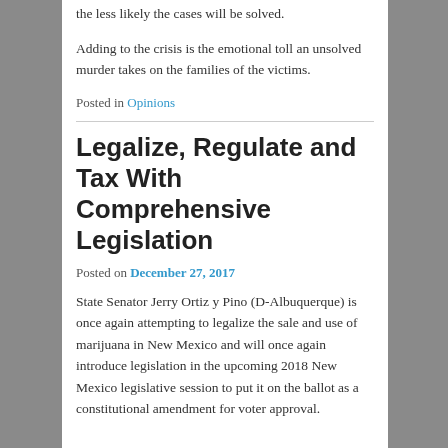the less likely the cases will be solved.
Adding to the crisis is the emotional toll an unsolved murder takes on the families of the victims.
Posted in Opinions
Legalize, Regulate and Tax With Comprehensive Legislation
Posted on December 27, 2017
State Senator Jerry Ortiz y Pino (D-Albuquerque) is once again attempting to legalize the sale and use of marijuana in New Mexico and will once again introduce legislation in the upcoming 2018 New Mexico legislative session to put it on the ballot as a constitutional amendment for voter approval.